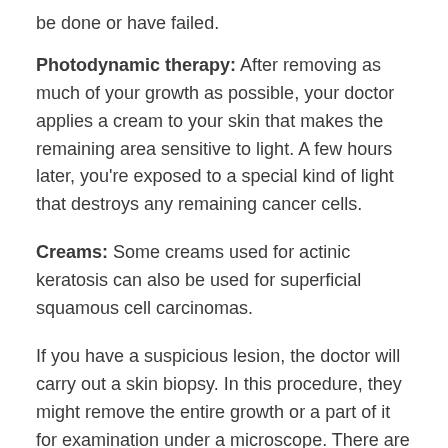be done or have failed.
Photodynamic therapy: After removing as much of your growth as possible, your doctor applies a cream to your skin that makes the remaining area sensitive to light. A few hours later, you're exposed to a special kind of light that destroys any remaining cancer cells.
Creams: Some creams used for actinic keratosis can also be used for superficial squamous cell carcinomas.
If you have a suspicious lesion, the doctor will carry out a skin biopsy. In this procedure, they might remove the entire growth or a part of it for examination under a microscope. There are two types of skin biopsies:
Shave biopsy. Using a sharp blade, your doctor shaves off the top layers of your growth. He or she then applies an electrical current to stop any bleeding and cauterizes the wound. You...